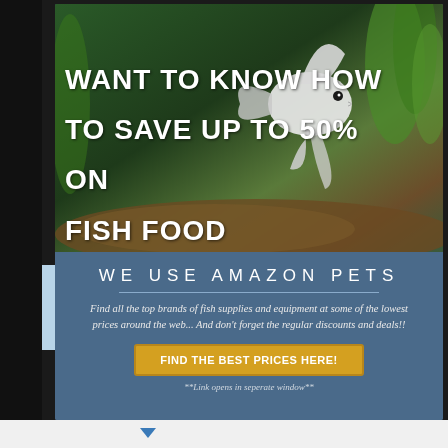[Figure (photo): Angelfish aquarium advertisement photo showing a white angelfish swimming in a planted aquarium with green plants and driftwood background]
WANT TO KNOW HOW TO SAVE UP TO 50% ON FISH FOOD AND EQUIPMENT?
WE USE AMAZON PETS
Find all the top brands of fish supplies and equipment at some of the lowest prices around the web... And don't forget the regular discounts and deals!!
FIND THE BEST PRICES HERE!
**Link opens in seperate window**